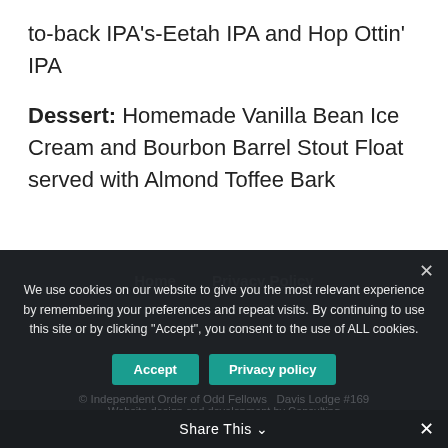to-back IPA's-Eetah IPA and Hop Ottin' IPA
Dessert: Homemade Vanilla Bean Ice Cream and Bourbon Barrel Stout Float served with Almond Toffee Bark
Home   Privacy Policy
We use cookies on our website to give you the most relevant experience by remembering your preferences and repeat visits. By continuing to use this site or by clicking "Accept", you consent to the use of ALL cookies.
© Independent Order of Odd Fellows Davis Lodge #169
Website design and development by Consulting
Share This